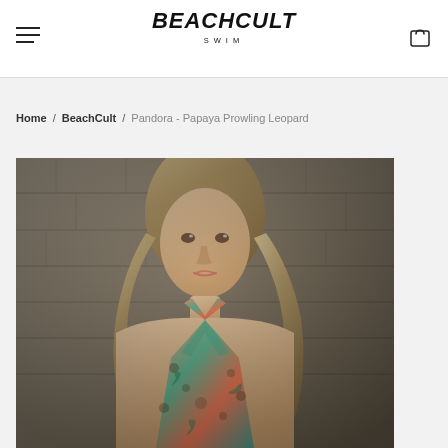BeachCult Swim
Home / BeachCult / Pandora - Papaya Prowling Leopard
[Figure (photo): Model wearing a colorful floral/leopard print halter swimsuit top in coral/teal colors, standing in front of a stone wall. Blonde hair, close-up portrait shot.]